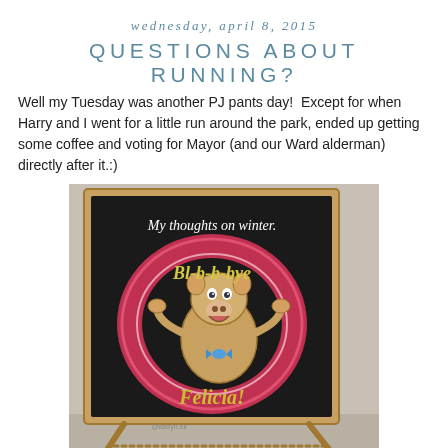wednesday, april 8, 2015
QUESTIONS ABOUT RUNNING?
Well my Tuesday was another PJ pants day!  Except for when Harry and I went for a little run around the park, ended up getting some coffee and voting for Mayor (and our Ward alderman) directly after it.:)
[Figure (photo): A-frame chalkboard sign outdoors with chalk drawing of Porky Pig in a red circle, text reading 'My thoughts on winter. Bl-b-b-bye Felicia!' in yellow and white chalk on black background, with a wooden frame.]